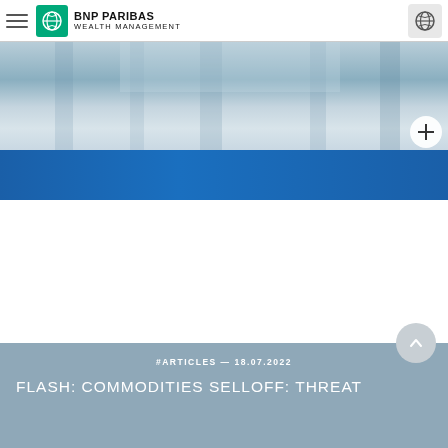BNP PARIBAS WEALTH MANAGEMENT
[Figure (photo): Blueish-gray gradient image band with vertical shadow streaks, representing a decorative header image. A white circle with a plus (+) sign appears at the bottom right.]
[Figure (illustration): Solid deep blue horizontal band used as a decorative separator.]
#ARTICLES — 18.07.2022
FLASH: COMMODITIES SELLOFF: THREAT